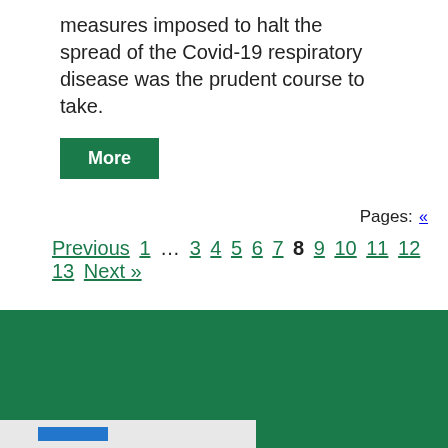measures imposed to halt the spread of the Covid-19 respiratory disease was the prudent course to take.
More
Pages: « Previous 1 … 3 4 5 6 7 8 9 10 11 12 13 Next »
[Figure (other): Dark green background footer section with a light grey bar at the bottom containing a blue element]